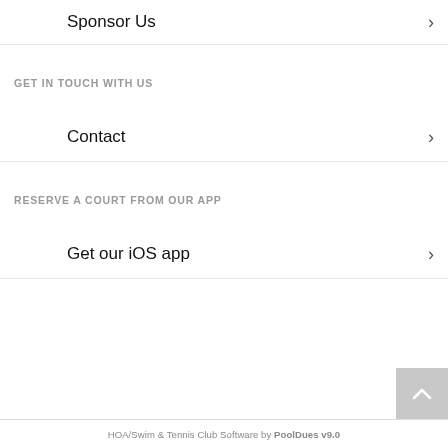Sponsor Us >
GET IN TOUCH WITH US
Contact >
RESERVE A COURT FROM OUR APP
Get our iOS app >
HOA/Swim & Tennis Club Software by PoolDues v9.0